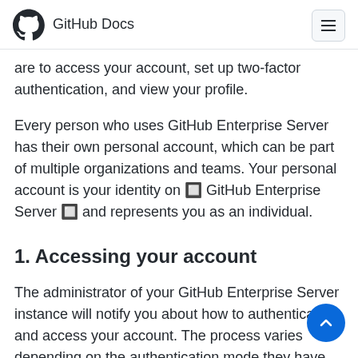GitHub Docs
are to access your account, set up two-factor authentication, and view your profile.
Every person who uses GitHub Enterprise Server has their own personal account, which can be part of multiple organizations and teams. Your personal account is your identity on 🔲 GitHub Enterprise Server 🔲 and represents you as an individual.
1. Accessing your account
The administrator of your GitHub Enterprise Server instance will notify you about how to authenticate and access your account. The process varies depending on the authentication mode they have configured for the instance.